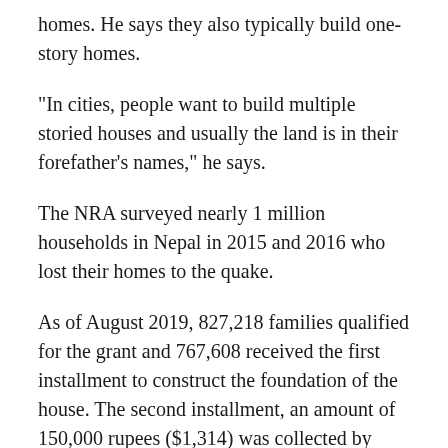homes. He says they also typically build one-story homes.
“In cities, people want to build multiple storied houses and usually the land is in their forefather’s names,” he says.
The NRA surveyed nearly 1 million households in Nepal in 2015 and 2016 who lost their homes to the quake.
As of August 2019, 827,218 families qualified for the grant and 767,608 received the first installment to construct the foundation of the house. The second installment, an amount of 150,000 rupees ($1,314) was collected by 602,443 families and went towards the walls of the home. The third and final installment, totaling 50,000 rupees ($438) to build the roof, was received by 483,225 families, or just 58% of